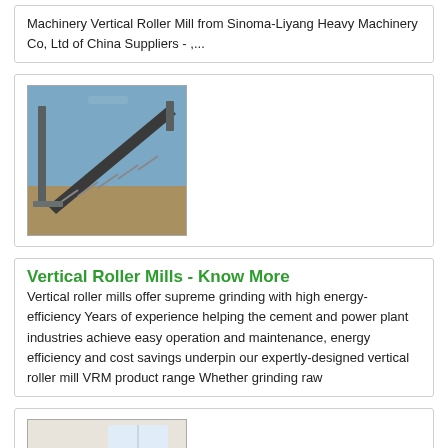Machinery Vertical Roller Mill from Sinoma-Liyang Heavy Machinery Co, Ltd of China Suppliers - ,...
[Figure (photo): Industrial conveyor belt machinery, outdoor photo with metal framework and rollers]
Vertical Roller Mills - Know More
Vertical roller mills offer supreme grinding with high energy-efficiency Years of experience helping the cement and power plant industries achieve easy operation and maintenance, energy efficiency and cost savings underpin our expertly-designed vertical roller mill VRM product range Whether grinding raw
[Figure (photo): Industrial roller machinery part in a warehouse or factory setting]